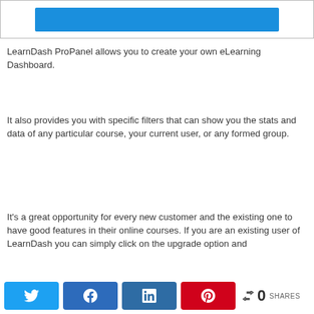[Figure (screenshot): Partial screenshot showing a blue button/bar inside a bordered white container]
LearnDash ProPanel allows you to create your own eLearning Dashboard.
It also provides you with specific filters that can show you the stats and data of any particular course, your current user, or any formed group.
It's a great opportunity for every new customer and the existing one to have good features in their online courses. If you are an existing user of LearnDash you can simply click on the upgrade option and
Twitter share, Facebook share, LinkedIn share, Pinterest share, 0 SHARES